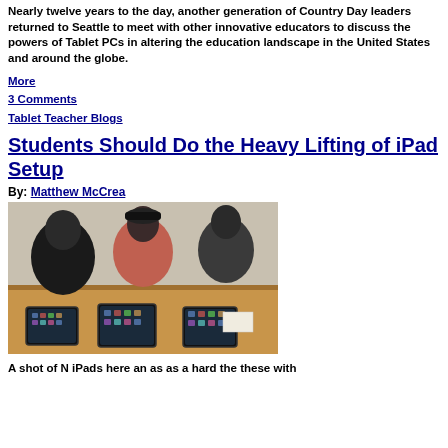Nearly twelve years to the day, another generation of Country Day leaders returned to Seattle to meet with other innovative educators to discuss the powers of Tablet PCs in altering the education landscape in the United States and around the globe.
More
3 Comments
Tablet Teacher Blogs
Students Should Do the Heavy Lifting of iPad Setup
By: Matthew McCrea
[Figure (photo): Three students leaning over a wooden table, each setting up or interacting with an iPad device. Viewed from above.]
A shot of N iPads here an as as a hard the these with